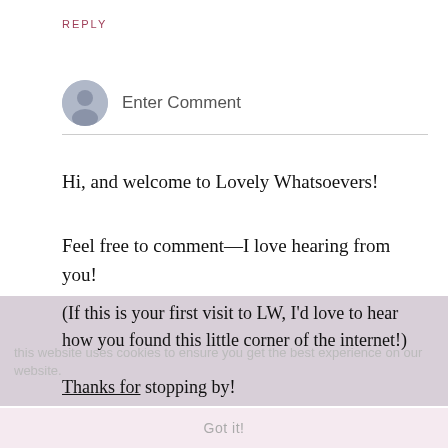REPLY
Enter Comment
Hi, and welcome to Lovely Whatsoevers!
Feel free to comment—I love hearing from you!
(If this is your first visit to LW, I'd love to hear how you found this little corner of the internet!)
this website uses cookies to ensure you get the best experience on our website.
Thanks for stopping by!
Got it!